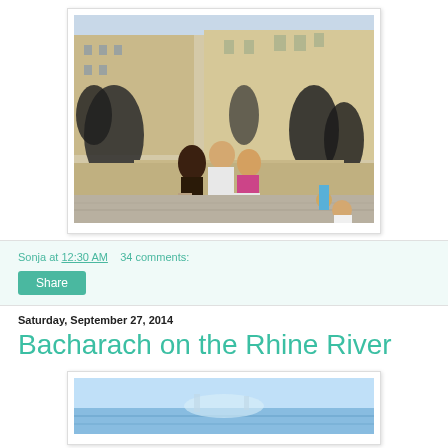[Figure (photo): Family photo in front of bronze statues at an outdoor plaza in a European city, sunny day. A boy, a man, and a girl pose together. Other tourists visible in background.]
Sonja at 12:30 AM    34 comments:
Share
Saturday, September 27, 2014
Bacharach on the Rhine River
[Figure (photo): Partial photo visible at bottom, appears to show a river or water scene with blue sky, likely the Rhine River.]